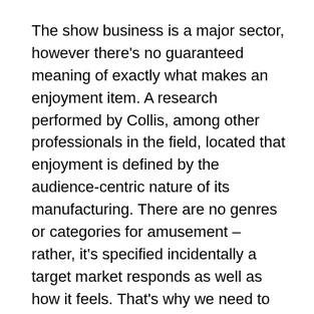The show business is a major sector, however there's no guaranteed meaning of exactly what makes an enjoyment item. A research performed by Collis, among other professionals in the field, located that enjoyment is defined by the audience-centric nature of its manufacturing. There are no genres or categories for amusement – rather, it's specified incidentally a target market responds as well as how it feels. That's why we need to focus on the method people consume entertainment. christopher r. getty
The entertainment industry likewise includes several sub-industries that belong to the entertainment industry. These sectors range from